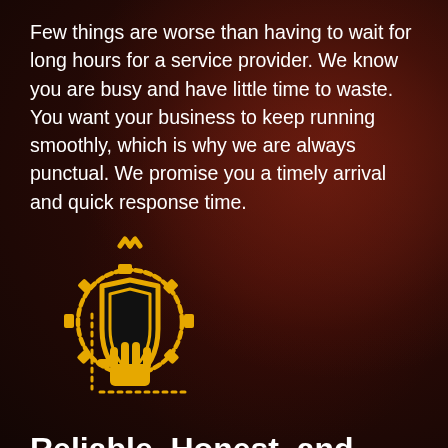Few things are worse than having to wait for long hours for a service provider. We know you are busy and have little time to waste. You want your business to keep running smoothly, which is why we are always punctual. We promise you a timely arrival and quick response time.
[Figure (illustration): Gold/yellow outlined icon of a hand holding a shield with a gear/cog behind it, representing reliability and protection, drawn in a line-art style on dark background.]
Reliable, Honest, and Affordable
We believe the best way to fulfill the needs of our clients is by offering honest and reliable services. We are not only available 24/7 but also provide you with accurate and fair invoices. You won't have to sell your